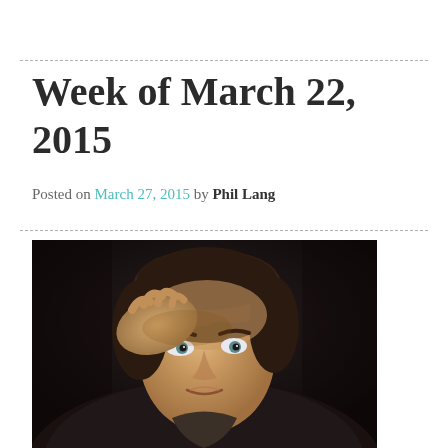Week of March 22, 2015
Posted on March 27, 2015 by Phil Lang
[Figure (photo): Portrait photo of a young man with dark wavy hair, resting his hand near his forehead, looking directly at the camera against a dark background.]